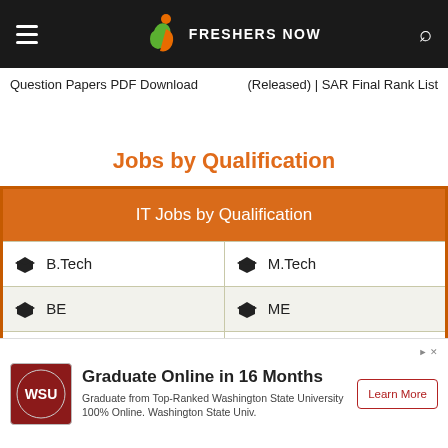FRESHERS NOW
Question Papers PDF Download | (Released) | SAR Final Rank List
Jobs by Qualification
| IT Jobs by Qualification |  |
| --- | --- |
| 🎓 B.Tech | 🎓 M.Tech |
| 🎓 BE | 🎓 ME |
| ✓ Sc | 🎓 M.Sc |
[Figure (other): Washington State University logo in red circle]
Graduate Online in 16 Months
Graduate from Top-Ranked Washington State University 100% Online. Washington State Univ.